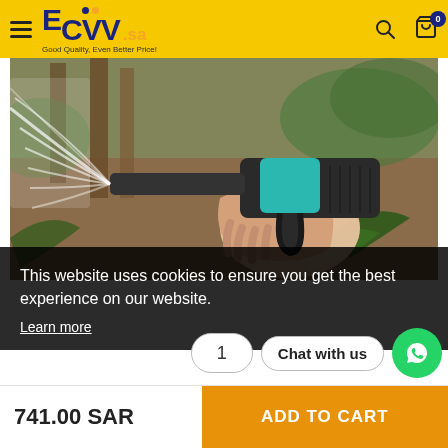[Figure (logo): ECVV.sa logo with tagline 'Good Quality, Even Better Price!' on yellow header bar]
[Figure (photo): A person holding a garden hose spray gun, shooting a wide spray of water, with plants and wooden fence in background]
This website uses cookies to ensure you get the best experience on our website.
Learn more
1
Chat with us
741.00 SAR
ADD TO CART